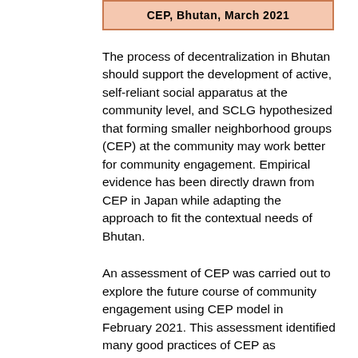CEP, Bhutan, March 2021
The process of decentralization in Bhutan should support the development of active, self-reliant social apparatus at the community level, and SCLG hypothesized that forming smaller neighborhood groups (CEP) at the community may work better for community engagement. Empirical evidence has been directly drawn from CEP in Japan while adapting the approach to fit the contextual needs of Bhutan.
An assessment of CEP was carried out to explore the future course of community engagement using CEP model in February 2021. This assessment identified many good practices of CEP as